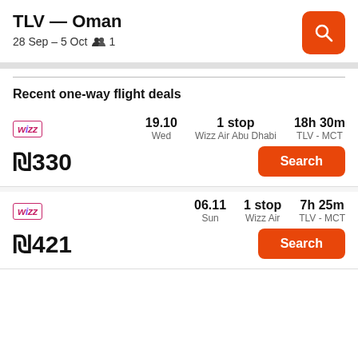TLV — Oman
28 Sep – 5 Oct   👥 1
Recent one-way flight deals
Wizz Air | 19.10 | Wed | 1 stop | Wizz Air Abu Dhabi | 18h 30m | TLV - MCT | ₪330 | Search
Wizz Air | 06.11 | Sun | 1 stop | Wizz Air | 7h 25m | TLV - MCT | ₪421 | Search